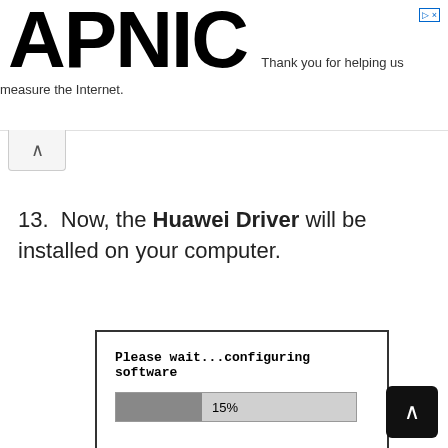APNIC — Thank you for helping us measure the Internet.
13. Now, the Huawei Driver will be installed on your computer.
[Figure (screenshot): A software installation dialog showing 'Please wait...configuring software' with a progress bar at 15% and an AndroidUSBDrivers.com watermark.]